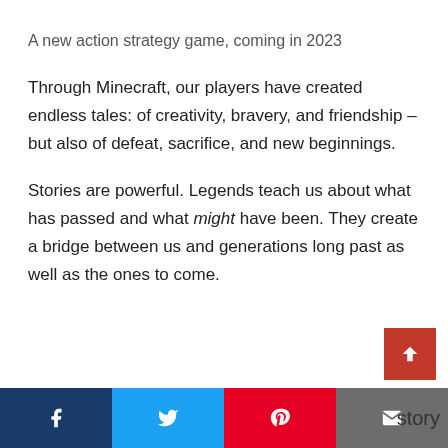A new action strategy game, coming in 2023
Through Minecraft, our players have created endless tales: of creativity, bravery, and friendship – but also of defeat, sacrifice, and new beginnings.
Stories are powerful. Legends teach us about what has passed and what might have been. They create a bridge between us and generations long past as well as the ones to come.
story